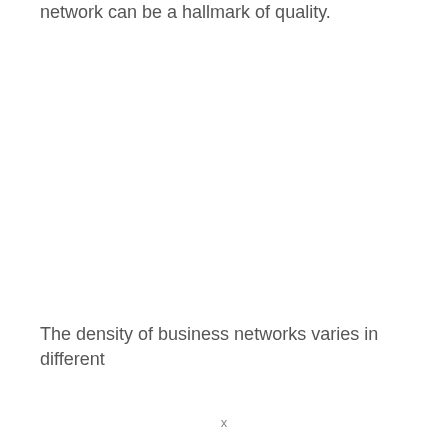network can be a hallmark of quality.
The density of business networks varies in different
x